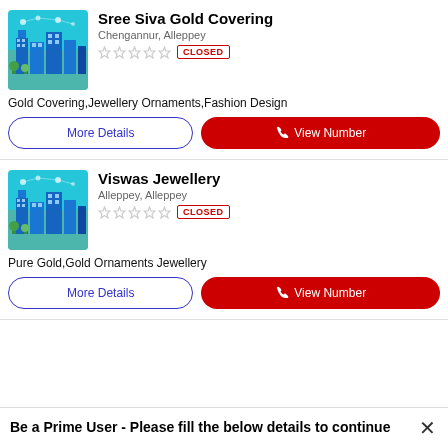[Figure (illustration): City skyline illustration with teal background showing buildings and connectivity icons]
Sree Siva Gold Covering
Chengannur, Alleppey
★★★★★ CLOSED
Gold Covering,Jewellery Ornaments,Fashion Design
More Details
View Number
[Figure (illustration): City skyline illustration with teal background showing buildings and connectivity icons]
Viswas Jewellery
Alleppey, Alleppey
★★★★★ CLOSED
Pure Gold,Gold Ornaments Jewellery
More Details
View Number
Be a Prime User - Please fill the below details to continue